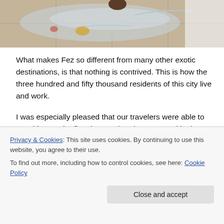[Figure (photo): Partial view of a person lying on tiled floor covered in plastic wrap, taken from above.]
What makes Fez so different from many other exotic destinations, is that nothing is contrived. This is how the three hundred and fifty thousand residents of this city live and work.
I was especially pleased that our travelers were able to see this. For the first time on the trip, we toured in the rain, but far from marring the experience, it seemed to enhance it.
Privacy & Cookies: This site uses cookies. By continuing to use this website, you agree to their use.
To find out more, including how to control cookies, see here: Cookie Policy
Close and accept
mansions (riads). We peered into the Qarawiyyine